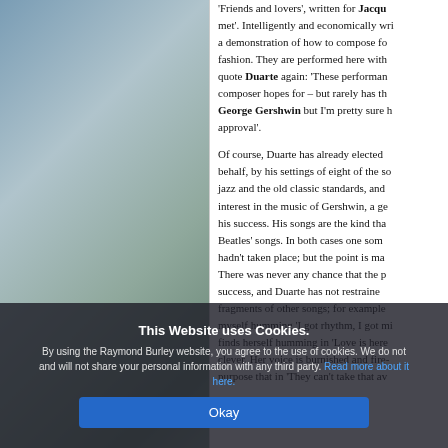[Figure (photo): Abstract textured painting or photograph with blue, green, grey, and cream tones — occupies the left half of the page]
'Friends and lovers', written for Jacqu… met'. Intelligently and economically wri… a demonstration of how to compose fo… fashion. They are performed here with… quote Duarte again: 'These performan… composer hopes for – but rarely has th… George Gershwin but I'm pretty sure h… approval'.
Of course, Duarte has already elected … behalf, by his settings of eight of the so… jazz and the old classic standards, and… interest in the music of Gershwin, a ge… his success. His songs are the kind tha… Beatles' songs. In both cases one som… hadn't taken place; but the point is ma… There was never any chance that the p… success, and Duarte has not restraine… fragments of other songs; for example … myself humming 'I got rhythm, I got mi… finds herself humming in 'Love is here … clever. Her voice is burnished and fire-… purpose that in 'They can't take that av…
This Website uses Cookies.
By using the Raymond Burley website, you agree to the use of cookies. We do not and will not share your personal information with any third party. Read more about it here.
Okay